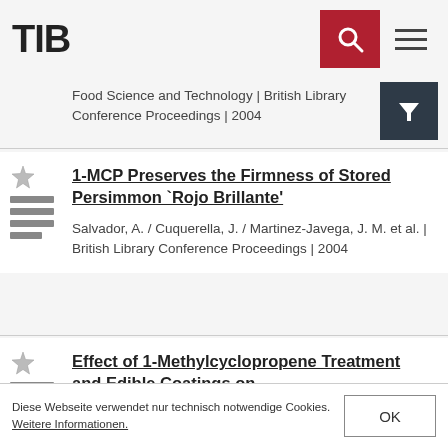TIB
Food Science and Technology | British Library Conference Proceedings | 2004
1-MCP Preserves the Firmness of Stored Persimmon `Rojo Brillante'
Salvador, A. / Cuquerella, J. / Martinez-Javega, J. M. et al. | British Library Conference Proceedings | 2004
Effect of 1-Methylcyclopropene Treatment and Edible Coatings on
Diese Webseite verwendet nur technisch notwendige Cookies. Weitere Informationen.